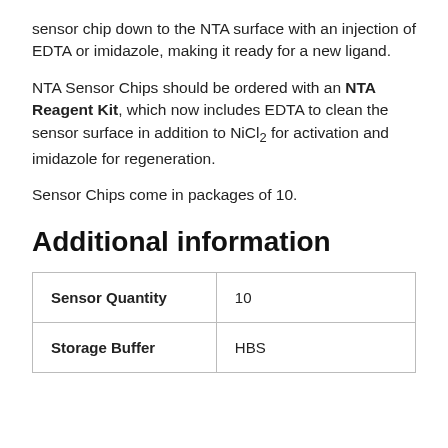sensor chip down to the NTA surface with an injection of EDTA or imidazole, making it ready for a new ligand.
NTA Sensor Chips should be ordered with an NTA Reagent Kit, which now includes EDTA to clean the sensor surface in addition to NiCl2 for activation and imidazole for regeneration.
Sensor Chips come in packages of 10.
Additional information
|  |  |
| --- | --- |
| Sensor Quantity | 10 |
| Storage Buffer | HBS |